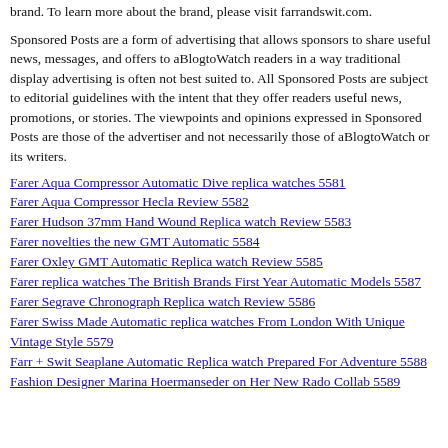brand. To learn more about the brand, please visit farrandswit.com.
Sponsored Posts are a form of advertising that allows sponsors to share useful news, messages, and offers to aBlogtoWatch readers in a way traditional display advertising is often not best suited to. All Sponsored Posts are subject to editorial guidelines with the intent that they offer readers useful news, promotions, or stories. The viewpoints and opinions expressed in Sponsored Posts are those of the advertiser and not necessarily those of aBlogtoWatch or its writers.
Farer Aqua Compressor Automatic Dive replica watches 5581
Farer Aqua Compressor Hecla Review 5582
Farer Hudson 37mm Hand Wound Replica watch Review 5583
Farer novelties the new GMT Automatic 5584
Farer Oxley GMT Automatic Replica watch Review 5585
Farer replica watches The British Brands First Year Automatic Models 5587
Farer Segrave Chronograph Replica watch Review 5586
Farer Swiss Made Automatic replica watches From London With Unique Vintage Style 5579
Farr + Swit Seaplane Automatic Replica watch Prepared For Adventure 5588
Fashion Designer Marina Hoermanseder on Her New Rado Collab 5589